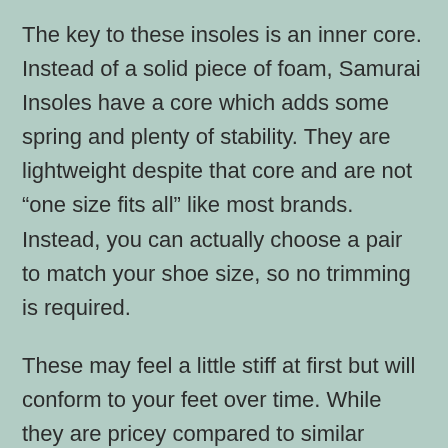The key to these insoles is an inner core. Instead of a solid piece of foam, Samurai Insoles have a core which adds some spring and plenty of stability. They are lightweight despite that core and are not “one size fits all” like most brands. Instead, you can actually choose a pair to match your shoe size, so no trimming is required.
These may feel a little stiff at first but will conform to your feet over time. While they are pricey compared to similar options, these are designed for specific needs and are well worth